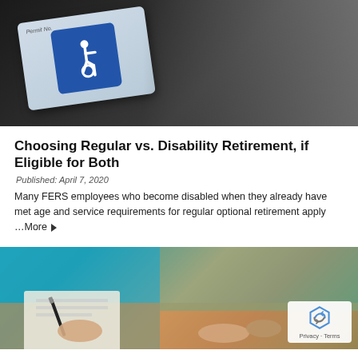[Figure (photo): Disability parking placard with wheelchair symbol on dark car dashboard background]
Choosing Regular vs. Disability Retirement, if Eligible for Both
Published: April 7, 2020
Many FERS employees who become disabled when they already have met age and service requirements for regular optional retirement apply …More ▶
[Figure (photo): Two people at a table, one signing a document with a pen, hands visible, with reCAPTCHA badge overlay showing Privacy and Terms]